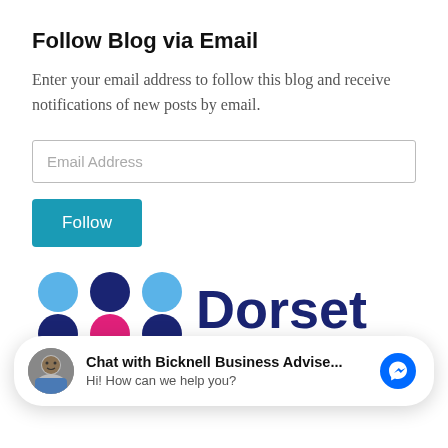Follow Blog via Email
Enter your email address to follow this blog and receive notifications of new posts by email.
[Figure (screenshot): Email address input field with placeholder text 'Email Address']
[Figure (screenshot): Teal 'Follow' button]
[Figure (logo): Dorset Chamber logo with colorful dot-grid icon and dark blue text reading 'Dorset Chamber']
[Figure (screenshot): Chat widget overlay: avatar photo, text 'Chat with Bicknell Business Advise...' and 'Hi! How can we help you?', with Facebook Messenger icon]